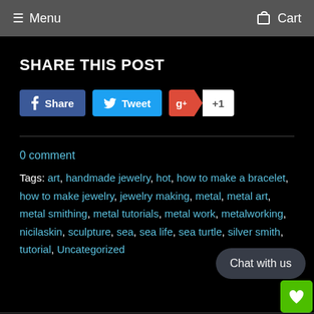Menu   Cart
SHARE THIS POST
[Figure (other): Social share buttons: Facebook Share, Twitter Tweet, Google+1]
0 comment
Tags: art, handmade jewelry, hot, how to make a bracelet, how to make jewelry, jewelry making, metal, metal art, metal smithing, metal tutorials, metal work, metalworking, nicilaskin, sculpture, sea, sea life, sea turtle, silver smith, tutorial, Uncategorized